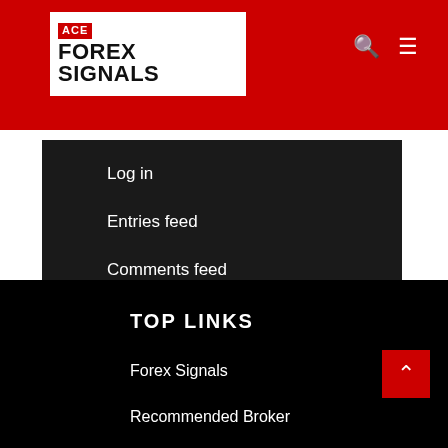ACE FOREX SIGNALS
Log in
Entries feed
Comments feed
WordPress.org
TOP LINKS
Forex Signals
Recommended Broker